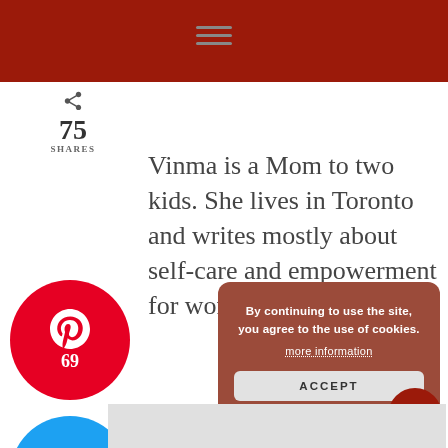[Figure (screenshot): Red navigation header bar with hamburger menu icon]
75 SHARES
Vinma is a Mom to two kids. She lives in Toronto and writes mostly about self-care and empowerment for women. Learn More →
[Figure (infographic): Pinterest share button, red circle, count 69]
[Figure (infographic): Twitter tweet button, blue circle]
[Figure (infographic): Facebook share button, blue circle, count 6]
[Figure (infographic): Cookie consent popup: By continuing to use the site, you agree to the use of cookies. more information. ACCEPT button.]